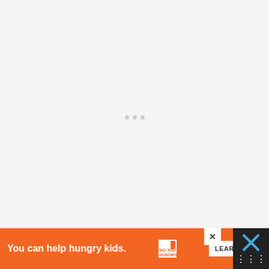[Figure (other): Large light gray content placeholder area with three small gray loading dots centered in the middle]
....AND An If You Care package filled with re
[Figure (other): Orange advertisement banner: 'You can help hungry kids.' with No Kid Hungry logo and LEARN HOW button, with a close X button and dark side panel with X icon]